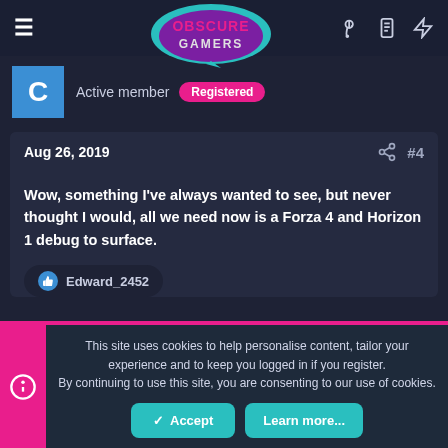Obscure Gamers — navigation header
Active member  Registered
Aug 26, 2019  #4
Wow, something I've always wanted to see, but never thought I would, all we need now is a Forza 4 and Horizon 1 debug to surface.
Edward_2452
This site uses cookies to help personalise content, tailor your experience and to keep you logged in if you register.
By continuing to use this site, you are consenting to our use of cookies.